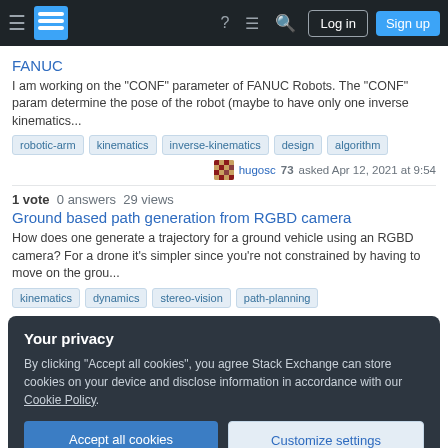Stack Exchange navigation bar with Log in and Sign up buttons
FANUC
I am working on the "CONF" parameter of FANUC Robots. The "CONF" param determine the pose of the robot (maybe to have only one inverse kinematics...
robotic-arm  kinematics  inverse-kinematics  design  algorithm
hugosc 73 asked Apr 12, 2021 at 9:54
1 vote  0 answers  29 views
Ground based path generation from RGBD camera
How does one generate a trajectory for a ground vehicle using an RGBD camera? For a drone it's simpler since you're not constrained by having to move on the grou...
kinematics  dynamics  stereo-vision  path-planning
Your privacy
By clicking "Accept all cookies", you agree Stack Exchange can store cookies on your device and disclose information in accordance with our Cookie Policy.
Accept all cookies  Customize settings
The robot is standing in the middle of the arena. I am confused on how to convert the